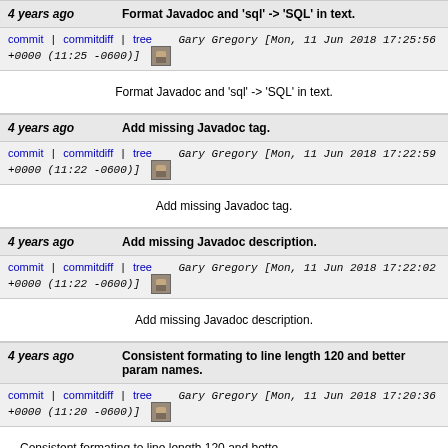4 years ago | Format Javadoc and 'sql' -> 'SQL' in text.
commit | commitdiff | tree   Gary Gregory [Mon, 11 Jun 2018 17:25:56 +0000 (11:25 -0600)]
Format Javadoc and 'sql' -> 'SQL' in text.
4 years ago | Add missing Javadoc tag.
commit | commitdiff | tree   Gary Gregory [Mon, 11 Jun 2018 17:22:59 +0000 (11:22 -0600)]
Add missing Javadoc tag.
4 years ago | Add missing Javadoc description.
commit | commitdiff | tree   Gary Gregory [Mon, 11 Jun 2018 17:22:02 +0000 (11:22 -0600)]
Add missing Javadoc description.
4 years ago | Consistent formating to line length 120 and better param names.
commit | commitdiff | tree   Gary Gregory [Mon, 11 Jun 2018 17:20:36 +0000 (11:20 -0600)]
Consistent formating to line length 120 and better